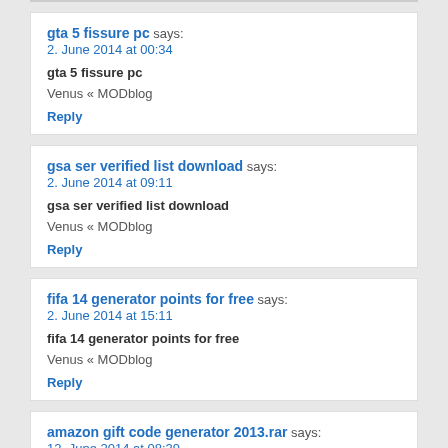gta 5 fissure pc says:
2. June 2014 at 00:34
gta 5 fissure pc
Venus « MODblog
Reply
gsa ser verified list download says:
2. June 2014 at 09:11
gsa ser verified list download
Venus « MODblog
Reply
fifa 14 generator points for free says:
2. June 2014 at 15:11
fifa 14 generator points for free
Venus « MODblog
Reply
amazon gift code generator 2013.rar says:
12. June 2014 at 08:39